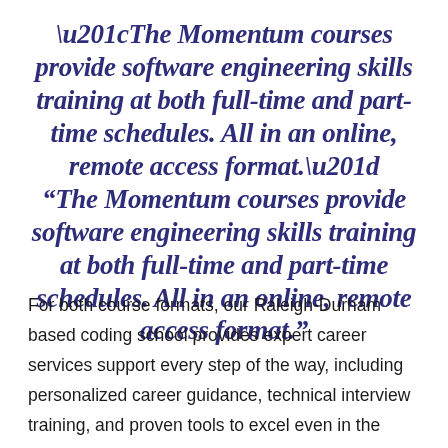“The Momentum courses provide software engineering skills training at both full-time and part-time schedules. All in an online, remote access format.”
For both course formats, our Raleigh-Durham based coding school provides expert career services support every step of the way, including personalized career guidance, technical interview training, and proven tools to excel even in the remote world. We’re here to help you understand this industry that may be